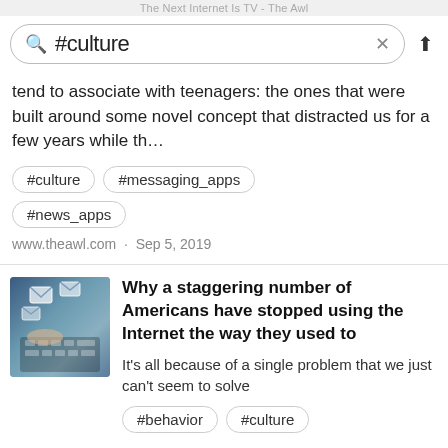The Next Internet Is TV - The Awl
tend to associate with teenagers: the ones that were built around some novel concept that distracted us for a few years while th…
#culture  #messaging_apps
#news_apps
www.theawl.com · Sep 5, 2019
Why a staggering number of Americans have stopped using the Internet the way they used to
It's all because of a single problem that we just can't seem to solve
#behavior  #culture